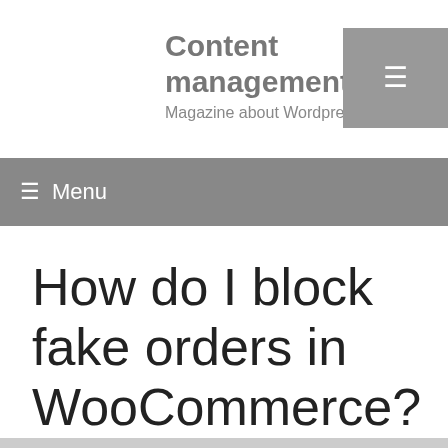Content management
Magazine about Wordpress from A to Z
How do I block fake orders in WooCommerce?